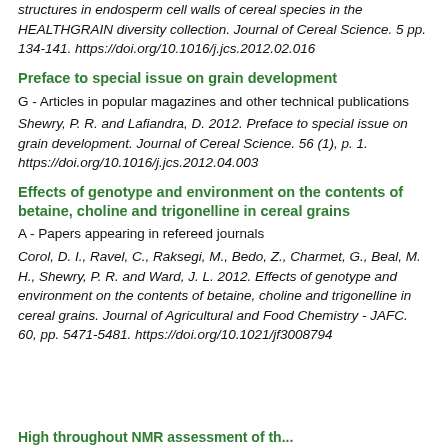structures in endosperm cell walls of cereal species in the HEALTHGRAIN diversity collection. Journal of Cereal Science. 5 pp. 134-141. https://doi.org/10.1016/j.jcs.2012.02.016
Preface to special issue on grain development
G - Articles in popular magazines and other technical publications
Shewry, P. R. and Lafiandra, D. 2012. Preface to special issue on grain development. Journal of Cereal Science. 56 (1), p. 1. https://doi.org/10.1016/j.jcs.2012.04.003
Effects of genotype and environment on the contents of betaine, choline and trigonelline in cereal grains
A - Papers appearing in refereed journals
Corol, D. I., Ravel, C., Raksegi, M., Bedo, Z., Charmet, G., Beal, M. H., Shewry, P. R. and Ward, J. L. 2012. Effects of genotype and environment on the contents of betaine, choline and trigonelline in cereal grains. Journal of Agricultural and Food Chemistry - JAFC. 60, pp. 5471-5481. https://doi.org/10.1021/jf3008794
High throughput NMR assessment of th...